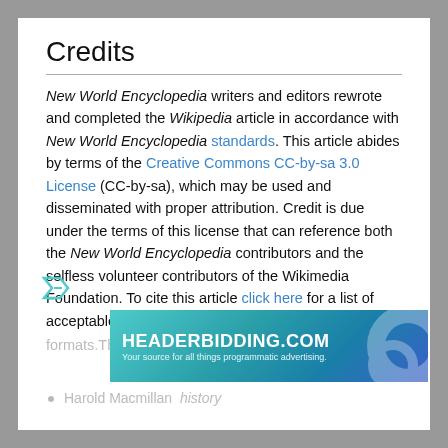Credits
New World Encyclopedia writers and editors rewrote and completed the Wikipedia article in accordance with New World Encyclopedia standards. This article abides by terms of the Creative Commons CC-by-sa 3.0 License (CC-by-sa), which may be used and disseminated with proper attribution. Credit is due under the terms of this license that can reference both the New World Encyclopedia contributors and the selfless volunteer contributors of the Wikimedia Foundation. To cite this article click here for a list of acceptable citing formats.The history of earlier contributions by wikipe... history
Harold Macmillan history
[Figure (other): HEADERBIDDING.COM advertisement banner - Your source for all things programmatic advertising.]